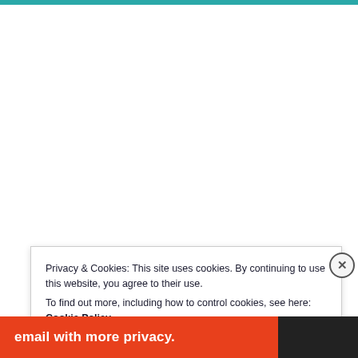Privacy & Cookies: This site uses cookies. By continuing to use this website, you agree to their use.
To find out more, including how to control cookies, see here: Cookie Policy
Close and accept
[Figure (infographic): Bottom orange banner with white bold text reading 'email with more privacy.' and a DuckDuckGo duck logo on the right side]